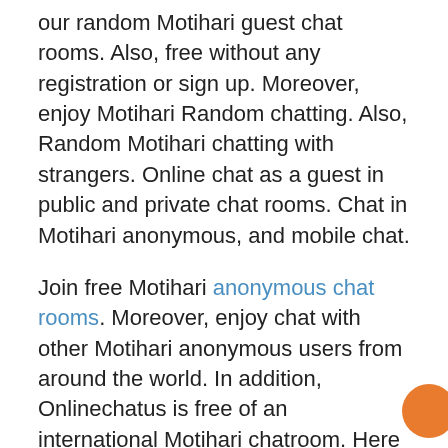Then join the best Motihari chat with strangers in our random Motihari guest chat rooms. Also, free without any registration or sign up. Moreover, enjoy Motihari Random chatting. Also, Random Motihari chatting with strangers. Online chat as a guest in public and private chat rooms. Chat in Motihari anonymous, and mobile chat.
Join free Motihari anonymous chat rooms. Moreover, enjoy chat with other Motihari anonymous users from around the world. In addition, Onlinechatus is free of an international Motihari chatroom. Here you can chats as you like. Obviously, No signup, with no registration and login to use. Onlinechatus.com Random Motihari anonymous chatting.
Benefits of our random anonymous online